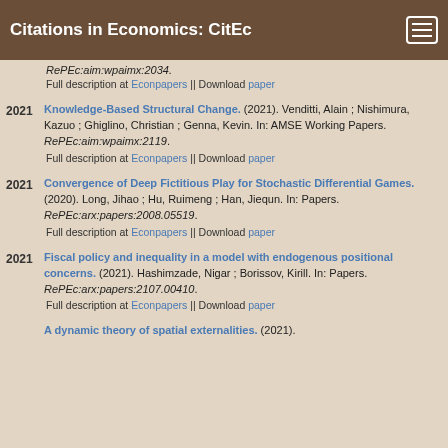Citations in Economics: CitEc
RePEc:aim:wpaimx:2034.
Full description at Econpapers || Download paper
Knowledge-Based Structural Change. (2021). Venditti, Alain ; Nishimura, Kazuo ; Ghiglino, Christian ; Genna, Kevin. In: AMSE Working Papers. RePEc:aim:wpaimx:2119.
Full description at Econpapers || Download paper
Convergence of Deep Fictitious Play for Stochastic Differential Games. (2020). Long, Jihao ; Hu, Ruimeng ; Han, Jiequn. In: Papers. RePEc:arx:papers:2008.05519.
Full description at Econpapers || Download paper
Fiscal policy and inequality in a model with endogenous positional concerns. (2021). Hashimzade, Nigar ; Borissov, Kirill. In: Papers. RePEc:arx:papers:2107.00410.
Full description at Econpapers || Download paper
A dynamic theory of spatial externalities. (2021).